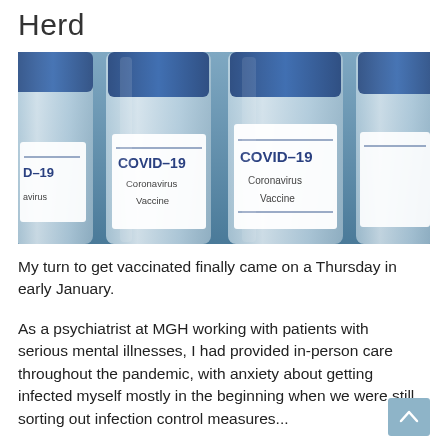Herd
[Figure (photo): Multiple COVID-19 Coronavirus Vaccine glass vials with blue caps, showing labels reading 'COVID-19 Coronavirus Vaccine']
My turn to get vaccinated finally came on a Thursday in early January.
As a psychiatrist at MGH working with patients with serious mental illnesses, I had provided in-person care throughout the pandemic, with anxiety about getting infected myself mostly in the beginning when we were still sorting out infection control measures...